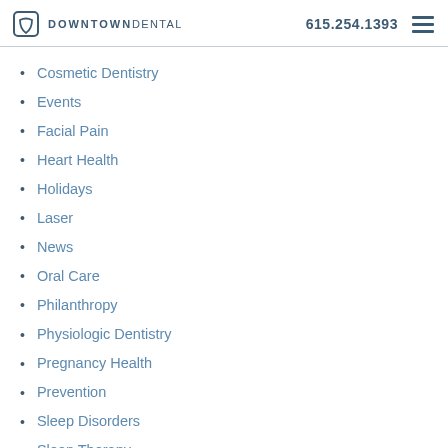DOWNTOWN DENTAL | 615.254.1393
Cosmetic Dentistry
Events
Facial Pain
Heart Health
Holidays
Laser
News
Oral Care
Philanthropy
Physiologic Dentistry
Pregnancy Health
Prevention
Sleep Disorders
Sleep Therapy
Sports Dentistry
Surgery